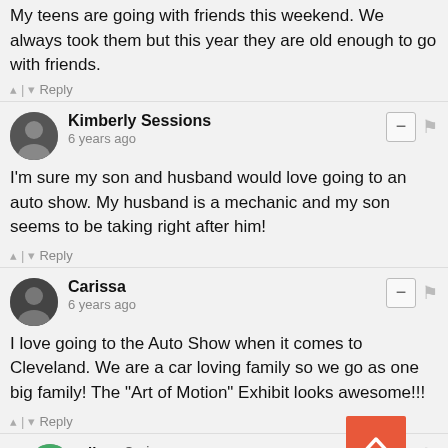My teens are going with friends this weekend. We always took them but this year they are old enough to go with friends.
^ | v  Reply
Kimberly Sessions
6 years ago
I'm sure my son and husband would love going to an auto show. My husband is a mechanic and my son seems to be taking right after him!
^ | v  Reply
Carissa
6 years ago
I love going to the Auto Show when it comes to Cleveland. We are a car loving family so we go as one big family! The "Art of Motion" Exhibit looks awesome!!!
^ | v  Reply
Elle → Carissa
6 years ago
I think I'm most excited about the art of motion exhibit. The talent is A-M-A-Z-I-N-G! I'm show you're going to love the Cleveland show.